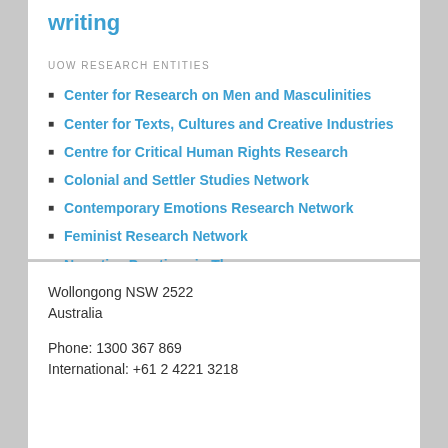writing
UOW RESEARCH ENTITIES
Center for Research on Men and Masculinities
Center for Texts, Cultures and Creative Industries
Centre for Critical Human Rights Research
Colonial and Settler Studies Network
Contemporary Emotions Research Network
Feminist Research Network
Narrative Practices in Therapy
LOGIN
Wollongong NSW 2522
Australia
Phone: 1300 367 869
International: +61 2 4221 3218